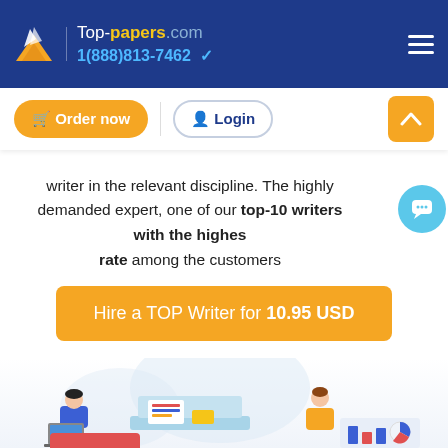Top-papers.com | 1(888)813-7462
writer in the relevant discipline. The highly demanded expert, one of our top-10 writers with the highest rate among the customers
Hire a TOP Writer for 10.95 USD
[Figure (illustration): Isometric illustration of people working at desks with laptops and documents]